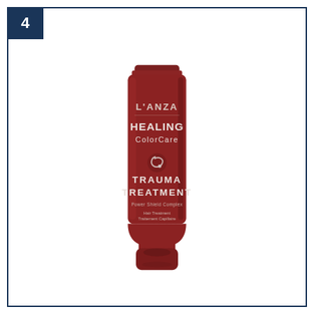4
[Figure (photo): L'ANZA Healing ColorCare Trauma Treatment hair product tube, dark maroon/burgundy color, 1.7 fl oz / 50 ml, with Power Shield Complex label]